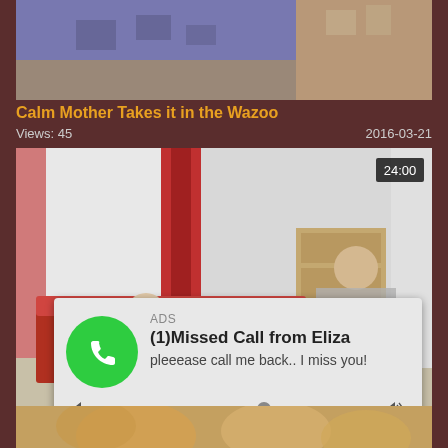[Figure (screenshot): Top video thumbnail showing partial image with blue/brown tones]
Calm Mother Takes it in the Wazoo
Views: 45    2016-03-21
[Figure (screenshot): Second video thumbnail showing two people in a room with red sofa, duration badge 24:00]
[Figure (infographic): Ad overlay: (1)Missed Call from Eliza - pleeease call me back.. I miss you! with audio player showing 0:00 to 3:23]
[Figure (screenshot): Bottom partial image showing blurred content]